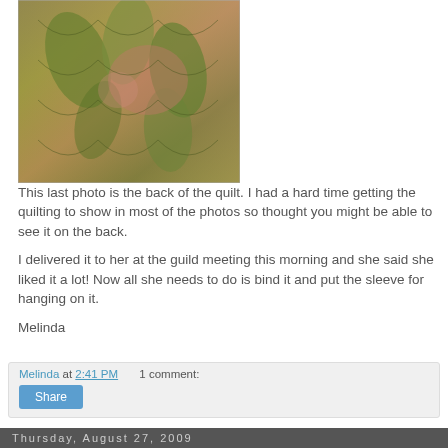[Figure (photo): Close-up photo of the back of a quilt showing leaf/floral quilting patterns in yellow-green, olive, pink, and red tones]
This last photo is the back of the quilt.  I had a hard time getting the quilting to show in most of the photos so thought you might be able to see it on the back.

I delivered it to her at the guild meeting this morning and she said she liked it a lot!  Now all she needs to do is bind it and put the sleeve for hanging on it.

Melinda
Melinda at 2:41 PM    1 comment:
Thursday, August 27, 2009